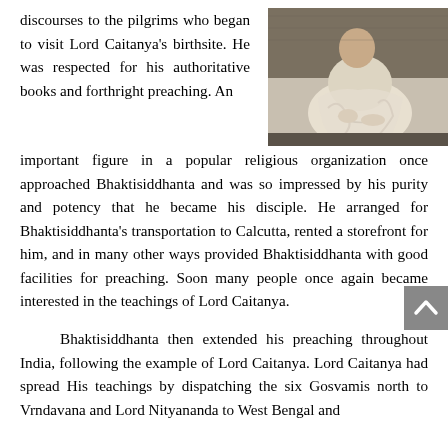discourses to the pilgrims who began to visit Lord Caitanya's birthsite. He was respected for his authoritative books and forthright preaching. An important figure in a popular religious organization once approached Bhaktisiddhanta and was so impressed by his purity and potency that he became his disciple. He arranged for Bhaktisiddhanta's transportation to Calcutta, rented a storefront for him, and in many other ways provided Bhaktisiddhanta with good facilities for preaching. Soon many people once again became interested in the teachings of Lord Caitanya.
[Figure (photo): Black and white photograph of a seated person in white robes or cloth, sitting cross-legged]
Bhaktisiddhanta then extended his preaching throughout India, following the example of Lord Caitanya. Lord Caitanya had spread His teachings by dispatching the six Gosvamis north to Vrndavana and Lord Nityananda to West Bengal and